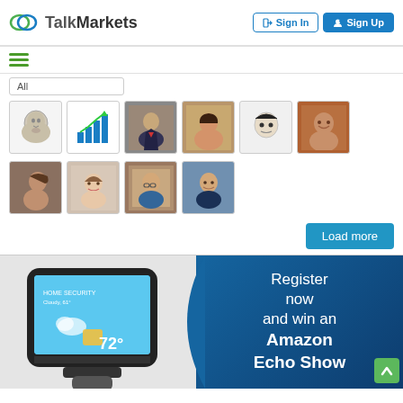TalkMarkets — Sign In | Sign Up
[Figure (screenshot): TalkMarkets website screenshot showing user profile thumbnails grid, a Load more button, and an Amazon Echo Show promotional banner]
Load more
Register now and win an Amazon Echo Show